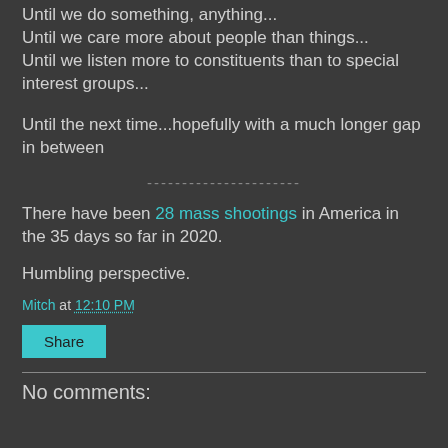Until we do something, anything...
Until we care more about people than things...
Until we listen more to constituents than to special interest groups...
Until the next time...hopefully with a much longer gap in between
----------------------
There have been 28 mass shootings in America in the 35 days so far in 2020.
Humbling perspective.
Mitch at 12:10 PM
Share
No comments: